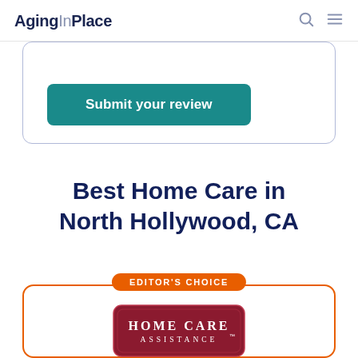AgingInPlace
[Figure (screenshot): Partially visible review submission card with a 'Submit your review' teal button, blue-grey border, rounded corners]
Best Home Care in North Hollywood, CA
[Figure (logo): Editor's Choice badge (orange pill) above an orange-bordered card containing the Home Care Assistance logo (dark red rounded rectangle with white text)]